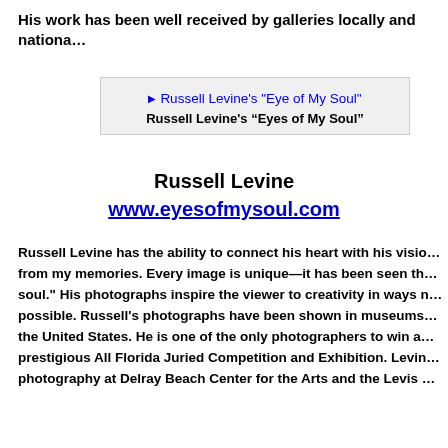His work has been well received by galleries locally and nationa…
[Figure (photo): Russell Levine's "Eye of My Soul" artwork image with broken image placeholder and caption]
Russell Levine's “Eyes of My Soul”
Russell Levine
www.eyesofmysoul.com
Russell Levine has the ability to connect his heart with his visio… from my memories. Every image is unique—it has been seen th… soul." His photographs inspire the viewer to creativity in ways n… possible. Russell's photographs have been shown in museums… the United States. He is one of the only photographers to win a… prestigious All Florida Juried Competition and Exhibition. Levin… photography at Delray Beach Center for the Arts and the Levis …